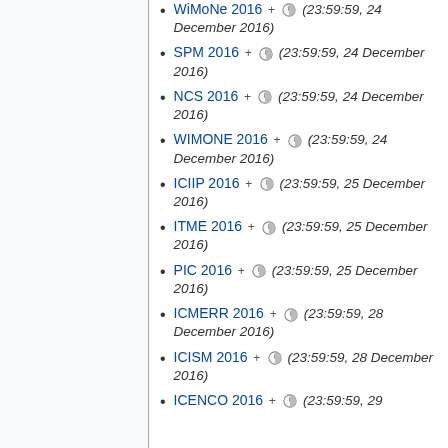WiMoNe 2016 + (23:59:59, 24 December 2016)
SPM 2016 + (23:59:59, 24 December 2016)
NCS 2016 + (23:59:59, 24 December 2016)
WIMONE 2016 + (23:59:59, 24 December 2016)
ICIIP 2016 + (23:59:59, 25 December 2016)
ITME 2016 + (23:59:59, 25 December 2016)
PIC 2016 + (23:59:59, 25 December 2016)
ICMERR 2016 + (23:59:59, 28 December 2016)
ICISM 2016 + (23:59:59, 28 December 2016)
ICENCO 2016 + (23:59:59, 29